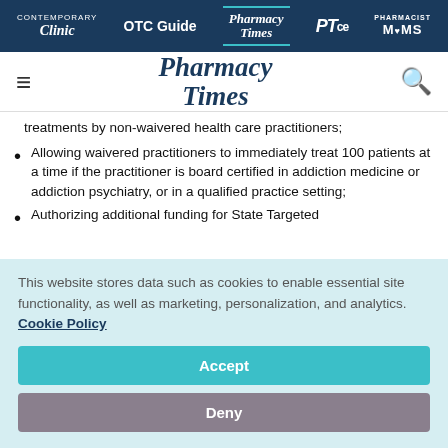Clinic | OTC Guide | Pharmacy Times | PTce | Pharmacist MOMS
[Figure (logo): Pharmacy Times logo with hamburger menu and search icon]
treatments by non-waivered health care practitioners;
Allowing waivered practitioners to immediately treat 100 patients at a time if the practitioner is board certified in addiction medicine or addiction psychiatry, or in a qualified practice setting;
Authorizing additional funding for State Targeted...
This website stores data such as cookies to enable essential site functionality, as well as marketing, personalization, and analytics. Cookie Policy
Accept
Deny